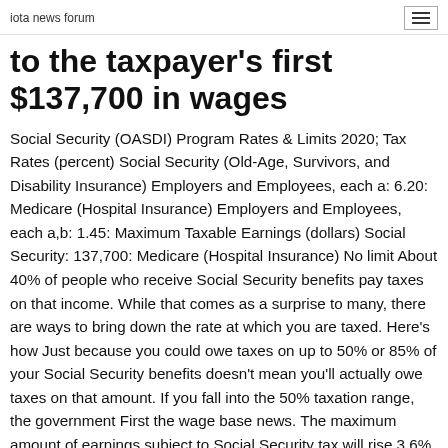iota news forum
to the taxpayer's first $137,700 in wages
Social Security (OASDI) Program Rates & Limits 2020; Tax Rates (percent) Social Security (Old-Age, Survivors, and Disability Insurance) Employers and Employees, each a: 6.20: Medicare (Hospital Insurance) Employers and Employees, each a,b: 1.45: Maximum Taxable Earnings (dollars) Social Security: 137,700: Medicare (Hospital Insurance) No limit About 40% of people who receive Social Security benefits pay taxes on that income. While that comes as a surprise to many, there are ways to bring down the rate at which you are taxed. Here's how Just because you could owe taxes on up to 50% or 85% of your Social Security benefits doesn't mean you'll actually owe taxes on that amount. If you fall into the 50% taxation range, the government First the wage base news. The maximum amount of earnings subject to Social Security tax will rise 3.6% to